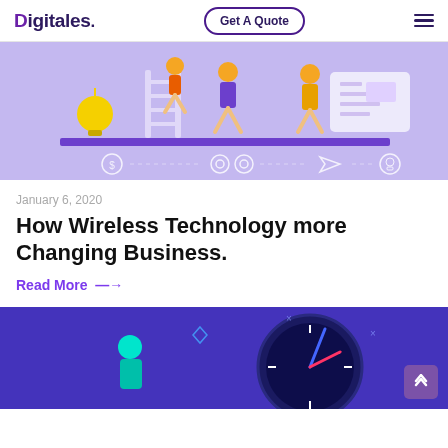Digitales. | Get A Quote | ≡
[Figure (illustration): Purple/lavender background illustration showing people working with a ladder, lightbulb, a monitor/screen with charts, and floating icons (dollar sign, gears, paper plane, lightbulb)]
January 6, 2020
How Wireless Technology more Changing Business.
Read More →
[Figure (illustration): Dark blue/purple background illustration showing a person thinking with a large clock face and a red needle, with diamond and X decorative elements]